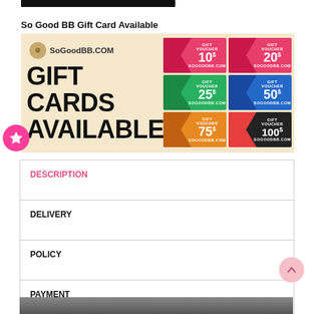[Figure (other): Black navigation bar at top of page]
So Good BB Gift Card Available
[Figure (infographic): SoGoodBB.COM Gift Cards Available banner showing gift vouchers in denominations of $10, $20, $25, $50, $75, $100 on a beige background]
| DESCRIPTION |
| DELIVERY |
| POLICY |
| PAYMENT |
| Weave Winner - Natural Yaki - 4Pcs Pack |
[Figure (photo): Product photo at bottom of page showing hair product]